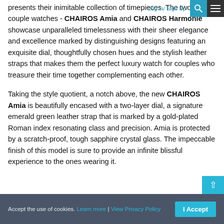presents their inimitable collection of timepieces. The two luxury couple watches - CHAIROS Amia and CHAIROS Harmonie showcase unparalleled timelessness with their sheer elegance and excellence marked by distinguishing designs featuring an exquisite dial, thoughtfully chosen hues and the stylish leather straps that makes them the perfect luxury watch for couples who treasure their time together complementing each other.
Taking the style quotient, a notch above, the new CHAIROS Amia is beautifully encased with a two-layer dial, a signature emerald green leather strap that is marked by a gold-plated Roman index resonating class and precision. Amia is protected by a scratch-proof, tough sapphire crystal glass. The impeccable finish of this model is sure to provide an infinite blissful experience to the ones wearing it.
Accept the use of cookies. Learn more | View Privacy Policy  I Accept